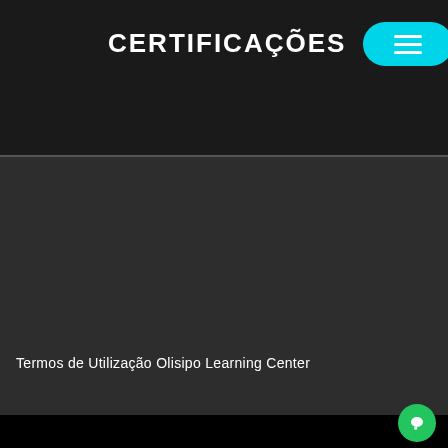CERTIFICAÇÕES
[Figure (screenshot): Dark background main content area with a video or image placeholder]
Termos de Utilização Olisipo Learning Center